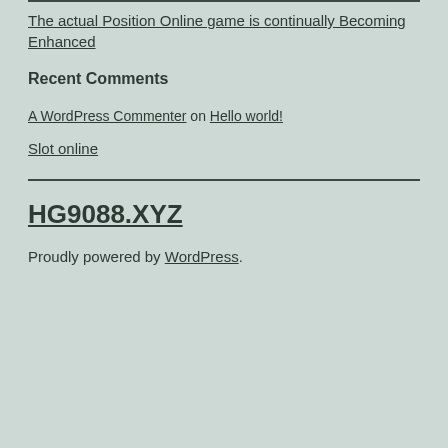The actual Position Online game is continually Becoming Enhanced
Recent Comments
A WordPress Commenter on Hello world!
Slot online
HG9088.XYZ
Proudly powered by WordPress.